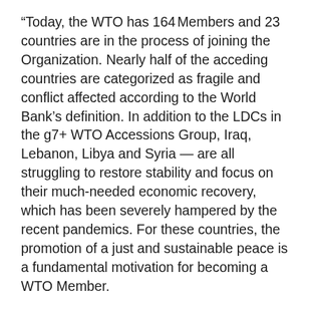“Today, the WTO has 164 Members and 23 countries are in the process of joining the Organization. Nearly half of the acceding countries are categorized as fragile and conflict affected according to the World Bank’s definition. In addition to the LDCs in the g7+ WTO Accessions Group, Iraq, Lebanon, Libya and Syria — are all struggling to restore stability and focus on their much-needed economic recovery, which has been severely hampered by the recent pandemics. For these countries, the promotion of a just and sustainable peace is a fundamental motivation for becoming a WTO Member.
“The Trade for Peace through WTO Accessions Initiative is essentially a partnership between the trade, humanitarian and peace communities to assist those fragile and conflict affected countries in re-building institutions and economies that can serve as a